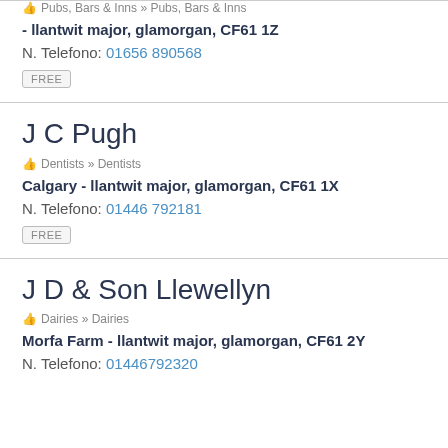Pubs, Bars & Inns » Pubs, Bars & Inns
- llantwit major, glamorgan, CF61 1Z
N. Telefono: 01656 890568
FREE
J C Pugh
Dentists » Dentists
Calgary - llantwit major, glamorgan, CF61 1X
N. Telefono: 01446 792181
FREE
J D & Son Llewellyn
Dairies » Dairies
Morfa Farm - llantwit major, glamorgan, CF61 2Y
N. Telefono: 01446792320